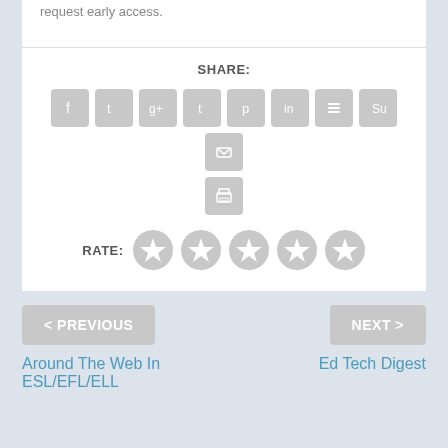request early access.
SHARE:
RATE:
< PREVIOUS
Around The Web In ESL/EFL/ELL
NEXT >
Ed Tech Digest